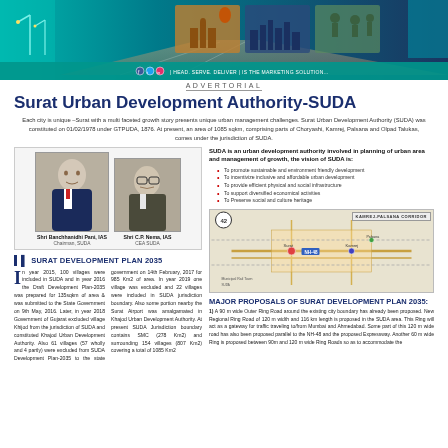[Figure (photo): Header banner with teal/navy background, road infrastructure and city images, with tagline 'HEAD. SERVE. DELIVER | IS THE MARKETING SOLUTION...']
ADVERTORIAL
Surat Urban Development Authority-SUDA
Each city is unique –Surat with a multi faceted growth story presents unique urban management challenges. Surat Urban Development Authority (SUDA) was constituted on 01/02/1978 under GTPUDA, 1876. At present, an area of 1085 sqkm, comprising parts of Choryashi, Kamrej, Palsana and Olpad Talukas, comes under the jurisdiction of SUDA.
[Figure (photo): Photo of Shri Banchhanidhi Pani, IAS, Chairman SUDA]
[Figure (photo): Photo of Shri C.P. Nema, IAS, CEA SUDA]
SURAT DEVELOPMENT PLAN 2035
In year 2015, 100 villages were included in SUDA and in year 2016 the Draft Development Plan-2035 was prepared for 135 sqkm of area & was submitted to the State Government on 9th May, 2016. Later, in year 2018 Government of Gujarat excluded village Khijod from the jurisdiction of SUDA and constituted Khajod Urban Development Authority. Also 61 villages (57 wholly and 4 partly) were excluded from SUDA Development Plan-2035 to the state government on 14th February, 2017 for 985 Km2 of area. In year 2019 one village was excluded and 22 villages were included in SUDA jurisdiction boundary. Also some portion nearby the Surat Airport was amalgamated in Khajod Urban Development Authority. At present SUDA Jurisdiction boundary contains SMC (278 Km2) and surrounding 154 villages (807 Km2) covering a total of 1085 Km2
SUDA is an urban development authority involved in planning of urban area and management of growth, the vision of SUDA is:
To promote sustainable and environment friendly development
To incentivize inclusive and affordable urban development
To provide efficient physical and social infrastructure
To support diversified economical activities
To Preserve social and culture heritage
[Figure (map): Kamrej-Palsana Corridor map showing regional road network and development zones around Surat]
MAJOR PROPOSALS OF SURAT DEVELOPMENT PLAN 2035:
1) A 90 m wide Outer Ring Road around the existing city boundary has already been proposed. New Regional Ring Road of 120 m width and 116 km length is proposed in the SUDA area. This Ring will act as a gateway for traffic traveling to/from Mumbai and Ahmedabad. Some part of this 120 m wide road has also been proposed parallel to the NH-48 and the proposed Expressway. Another 60 m wide Ring is proposed between 90m and 120 m wide Ring Roads so as to accommodate the